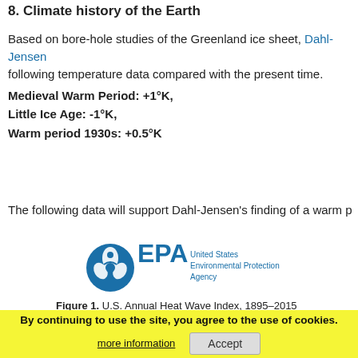8. Climate history of the Earth
Based on bore-hole studies of the Greenland ice sheet, Dahl-Jensen following temperature data compared with the present time.
Medieval Warm Period: +1°K,
Little Ice Age: -1°K,
Warm period 1930s: +0.5°K
The following data will support Dahl-Jensen's finding of a warm p
[Figure (logo): United States Environmental Protection Agency (EPA) logo with text]
Figure 1. U.S. Annual Heat Wave Index, 1895–2015
[Figure (other): Cookie consent banner: 'By continuing to use the site, you agree to the use of cookies.' with 'more information' and 'Accept' buttons, overlaid on partial chart showing y-axis values 1.4, 1.2, 1.0]